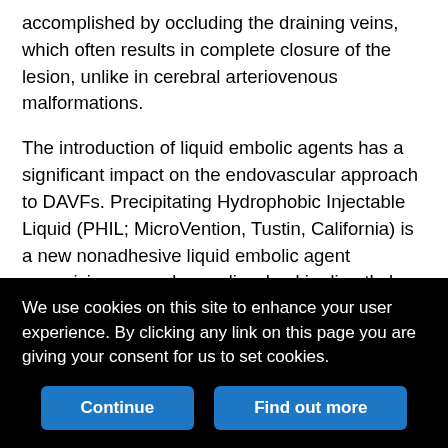accomplished by occluding the draining veins, which often results in complete closure of the lesion, unlike in cerebral arteriovenous malformations.
The introduction of liquid embolic agents has a significant impact on the endovascular approach to DAVFs. Precipitating Hydrophobic Injectable Liquid (PHIL; MicroVention, Tustin, California) is a new nonadhesive liquid embolic agent comprising a copolymer dissolved in dimethyl-sulfoxide (DMSO). It is delivered by slow and controlled injection through a DMSO-compatible microcatheter under fluoroscopic control. An iodine component is chemically bonded to the copolymer to provide homogeneous radio-opacity during fluoroscopic visualization. When it comes in contact with human
We use cookies on this site to enhance your user experience. By clicking any link on this page you are giving your consent for us to set cookies.